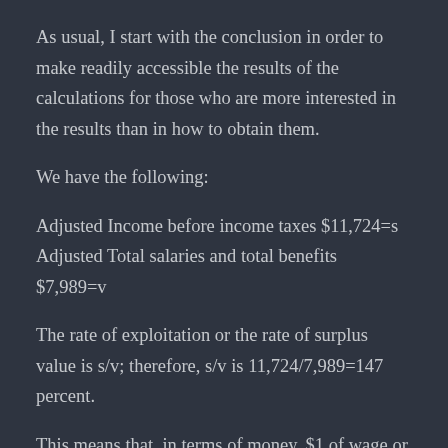As usual, I start with the conclusion in order to make readily accessible the results of the calculations for those who are more interested in the results than in how to obtain them.
We have the following:
Adjusted Income before income taxes $11,724=s
Adjusted Total salaries and total benefits $7,989=v
The rate of exploitation or the rate of surplus value is s/v; therefore, s/v is 11,724/7,989=147 percent.
This means that, in terms of money, $1 of wage or salary of a regular bank worker results in $1.47 Canadian dollars surplus value or profit for free. Alternatively, for every hour worked, a Scotiabank